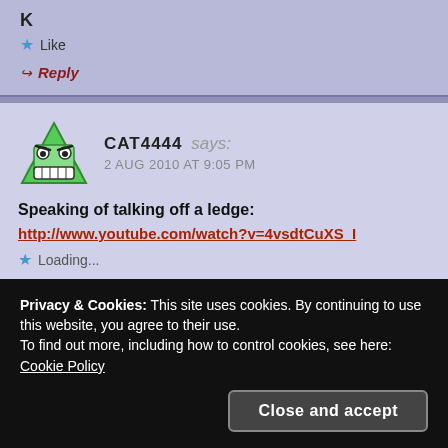K
★ Like
↪ Reply
CAT4444 says: 2 AUG 2010 AT 9:05 PM
Speaking of talking off a ledge:
http://www.youtube.com/watch?v=4vsdtCuXS_I
★ Loading...
Privacy & Cookies: This site uses cookies. By continuing to use this website, you agree to their use.
To find out more, including how to control cookies, see here: Cookie Policy
Close and accept
Hi Joe.